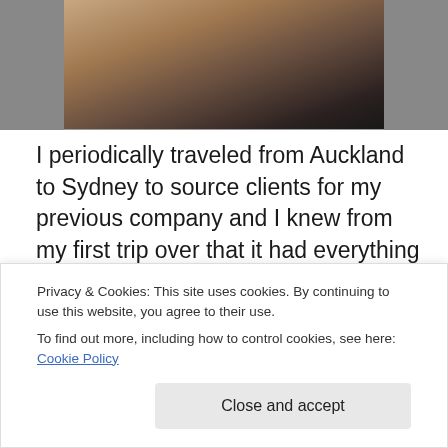[Figure (photo): Partial view of a person's arm and torso, sitting down, in a grey shirt against a dark background]
I periodically traveled from Auckland to Sydney to source clients for my previous company and I knew from my first trip over that it had everything I loved in a city: Energy and variety wrapped up in a coastal metropolis with weather that suited my heat-craving constitution. I felt fortunate to get an opportunity to spend more time in Sydney, which was to be our base for the summer. We initially stayed with friends of John's while we settled in and we soon found
Privacy & Cookies: This site uses cookies. By continuing to use this website, you agree to their use.
To find out more, including how to control cookies, see here: Cookie Policy
Close and accept